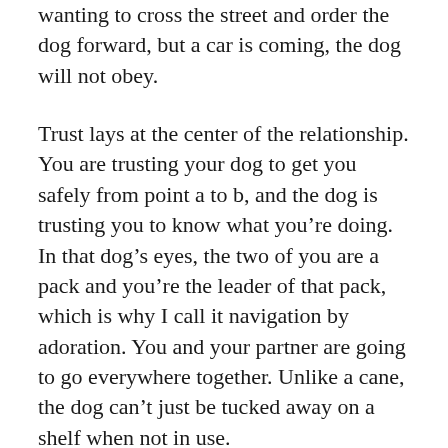wanting to cross the street and order the dog forward, but a car is coming, the dog will not obey.
Trust lays at the center of the relationship. You are trusting your dog to get you safely from point a to b, and the dog is trusting you to know what you’re doing. In that dog’s eyes, the two of you are a pack and you’re the leader of that pack, which is why I call it navigation by adoration. You and your partner are going to go everywhere together. Unlike a cane, the dog can’t just be tucked away on a shelf when not in use.
Having a guide dog has its disadvantages. For one thing, be prepared to be remembered